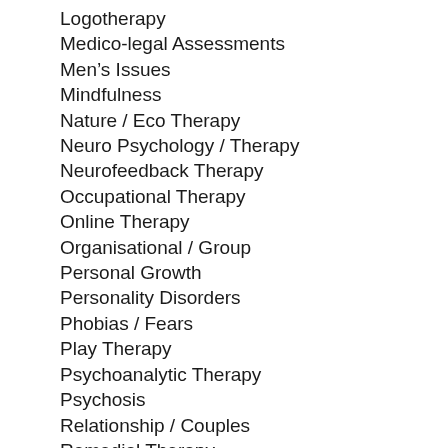Logotherapy
Medico-legal Assessments
Men’s Issues
Mindfulness
Nature / Eco Therapy
Neuro Psychology / Therapy
Neurofeedback Therapy
Occupational Therapy
Online Therapy
Organisational / Group
Personal Growth
Personality Disorders
Phobias / Fears
Play Therapy
Psychoanalytic Therapy
Psychosis
Relationship / Couples
Remedial Therapy
Retrenchment / Retirement
Sex